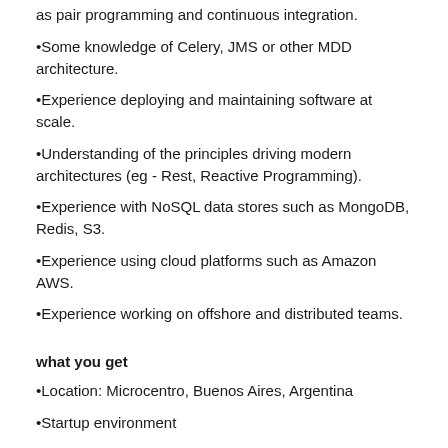as pair programming and continuous integration.
•Some knowledge of Celery, JMS or other MDD architecture.
•Experience deploying and maintaining software at scale.
•Understanding of the principles driving modern architectures (eg - Rest, Reactive Programming).
•Experience with NoSQL data stores such as MongoDB, Redis, S3.
•Experience using cloud platforms such as Amazon AWS.
•Experience working on offshore and distributed teams.
what you get
•Location: Microcentro, Buenos Aires, Argentina
•Startup environment
•Performance bonus
•HomeWorking possibility (1 day/week)